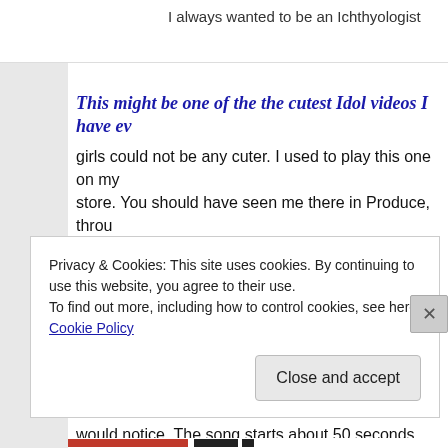I always wanted to be an Ichthyologist
This might be one of the the cutest Idol videos I have ev... girls could not be any cuter. I used to play this one on my store. You should have seen me there in Produce, throu... Seafood isles — headphones on — movin' and grovin'... my cart around almost like I was dancing with it! I was try to myself, but I probably let out a few audible sounds ... do-ro-yo BAY-BEE … Ha. The other shoppers would thi... would notice. The song starts about 50 seconds into thi...
Privacy & Cookies: This site uses cookies. By continuing to use this website, you agree to their use.
To find out more, including how to control cookies, see here: Cookie Policy
Close and accept